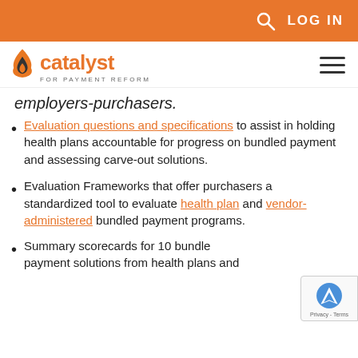LOG IN
[Figure (logo): Catalyst for Payment Reform logo with flame icon]
employers-purchasers.
Evaluation questions and specifications to assist in holding health plans accountable for progress on bundled payment and assessing carve-out solutions.
Evaluation Frameworks that offer purchasers a standardized tool to evaluate health plan and vendor-administered bundled payment programs.
Summary scorecards for 10 bundled payment solutions from health plans and